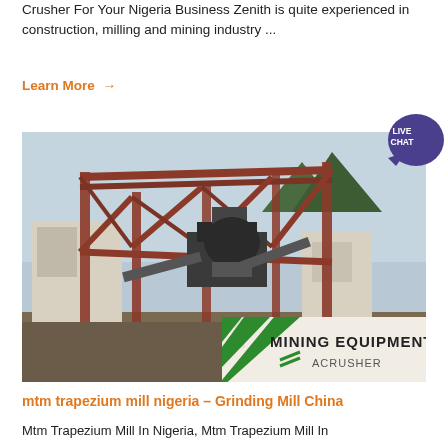Crusher For Your Nigeria Business Zenith is quite experienced in construction, milling and mining industry ...
Learn More →
[Figure (photo): Industrial mining equipment facility with metal scaffolding, conveyor belts, and large machinery. Background shows mountains. Foreground shows a worker on the ground. Bottom right corner shows a watermark: MINING EQUIPMENT ACRUSHER with green diagonal stripes.]
mtm trapezium mill nigeria – Grinding Mill China
Mtm Trapezium Mill In Nigeria, Mtm Trapezium Mill In